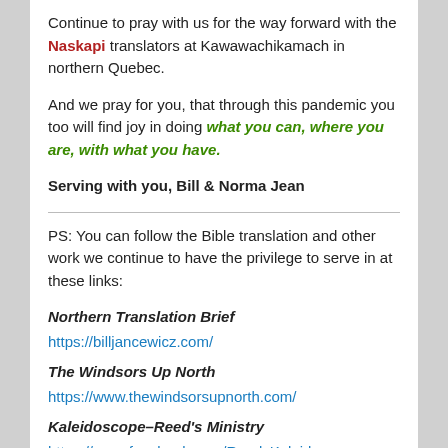Continue to pray with us for the way forward with the Naskapi translators at Kawawachikamach in northern Quebec.
And we pray for you, that through this pandemic you too will find joy in doing what you can, where you are, with what you have.
Serving with you, Bill & Norma Jean
PS: You can follow the Bible translation and other work we continue to have the privilege to serve in at these links:
Northern Translation Brief
https://billjancewicz.com/
The Windsors Up North
https://www.thewindsorsupnorth.com/
Kaleidoscope–Reed's Ministry
https://www.facebook.com/ReedsKaleidoscope
Posted on September 11, 2020 by Bill Jancewicz | 1 Reply